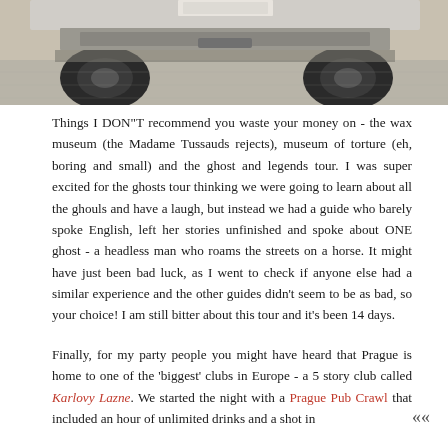[Figure (photo): Bottom portion of a car bumper and tires visible from below, on a concrete surface. Cropped photo strip at the top of the page.]
Things I DON"T recommend you waste your money on - the wax museum (the Madame Tussauds rejects), museum of torture (eh, boring and small) and the ghost and legends tour. I was super excited for the ghosts tour thinking we were going to learn about all the ghouls and have a laugh, but instead we had a guide who barely spoke English, left her stories unfinished and spoke about ONE ghost - a headless man who roams the streets on a horse. It might have just been bad luck, as I went to check if anyone else had a similar experience and the other guides didn't seem to be as bad, so your choice! I am still bitter about this tour and it's been 14 days.
Finally, for my party people you might have heard that Prague is home to one of the 'biggest' clubs in Europe - a 5 story club called Karlovy Lazne. We started the night with a Prague Pub Crawl that included an hour of unlimited drinks and a shot in